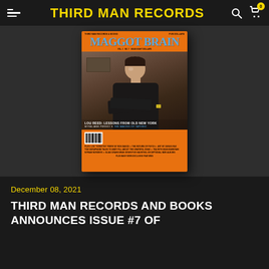THIRD MAN RECORDS
[Figure (photo): Magazine cover of Maggot Brain issue featuring Lou Reed on an orange background, with the headline 'LOU REED: LESSONS FROM OLD NEW YORK' and other coverlines]
December 08, 2021
THIRD MAN RECORDS AND BOOKS ANNOUNCES ISSUE #7 OF